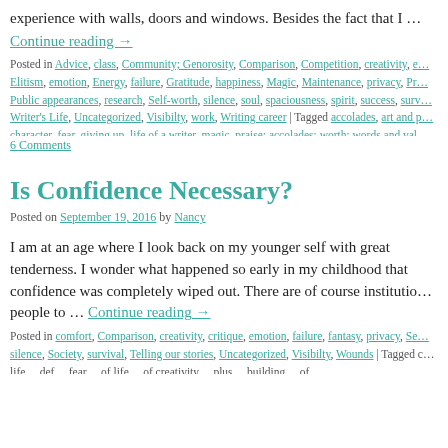experience with walls, doors and windows. Besides the fact that I …
Continue reading →
Posted in Advice, class, Community; Genorosity, Comparison, Competition, creativity, e… Elitism, emotion, Energy, failure, Gratitude, happiness, Magic, Maintenance, privacy, Pr… Public appearances, research, Self-worth, silence, soul, spaciousness, spirit, success, surv… Writer's Life, Uncategorized, Visibilty, work, Writing career | Tagged accolades, art and p… character, fear, giving up, life of a writer, magic, praise; accolades; worth; words and val… priorities, promotion, public, renewal, self esteem, self-worth, spaciousness, working, wr…
6 Comments
Is Confidence Necessary?
Posted on September 19, 2016 by Nancy
I am at an age where I look back on my younger self with great tenderness. I wonder what happened so early in my childhood that confidence was completely wiped out. There are of course institutio… people to … Continue reading →
Posted in comfort, Comparison, creativity, critique, emotion, failure, fantasy, privacy, Se… silence, Society, survival, Telling our stories, Uncategorized, Visibilty, Wounds | Tagged c… life… def… fear… of life… of creativity… plus… building… of…